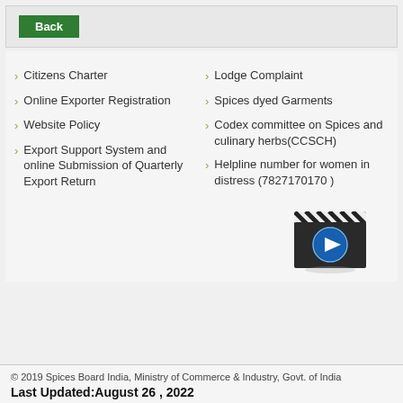Citizens Charter
Online Exporter Registration
Website Policy
Export Support System and online Submission of Quarterly Export Return
Lodge Complaint
Spices dyed Garments
Codex committee on Spices and culinary herbs(CCSCH)
Helpline number for women in distress (7827170170 )
[Figure (illustration): Video player icon — a film clapboard with a blue play button]
© 2019 Spices Board India, Ministry of Commerce & Industry, Govt. of India
Last Updated:August 26 , 2022